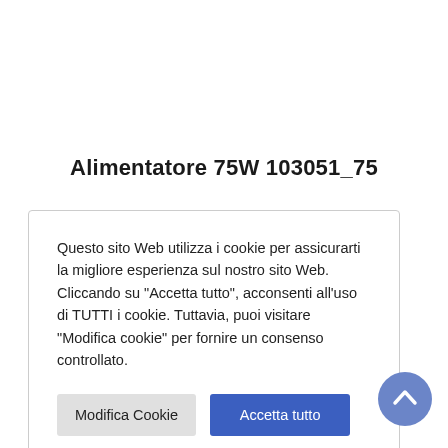Alimentatore 75W 103051_75
Questo sito Web utilizza i cookie per assicurarti la migliore esperienza sul nostro sito Web. Cliccando su "Accetta tutto", acconsenti all'uso di TUTTI i cookie. Tuttavia, puoi visitare "Modifica cookie" per fornire un consenso controllato.
[Figure (screenshot): Cookie consent dialog with two buttons: 'Modifica Cookie' (grey) and 'Accetta tutto' (blue)]